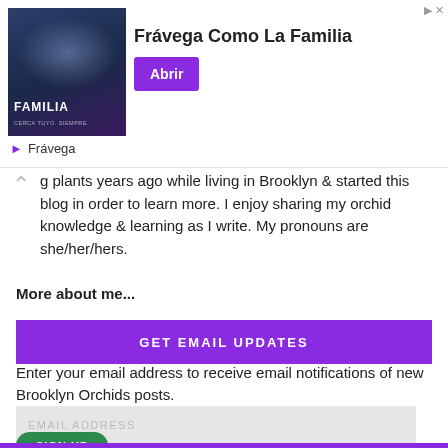[Figure (screenshot): Advertisement banner for Frávega showing group of people, text 'Frávega Como La Familia' and purple 'Abrir' button]
g plants years ago while living in Brooklyn & started this blog in order to learn more. I enjoy sharing my orchid knowledge & learning as I write. My pronouns are she/her/hers.
More about me...
GET EMAIL UPDATES
Enter your email address to receive email notifications of new Brooklyn Orchids posts.
EMAIL ADDRESS
SIGN UP